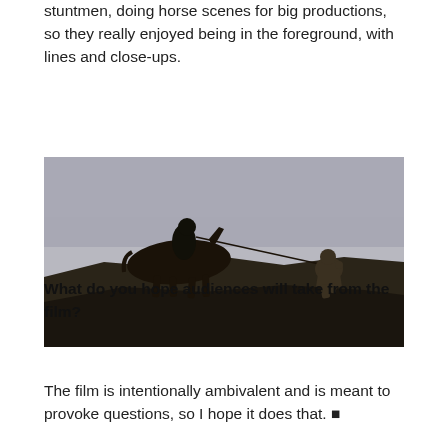stuntmen, doing horse scenes for big productions, so they really enjoyed being in the foreground, with lines and close-ups.
[Figure (photo): Silhouette of a person on horseback holding a long rope or line connected to an armored figure kneeling on rocky terrain against a grey overcast sky.]
What do you hope audiences will take from the film?
The film is intentionally ambivalent and is meant to provoke questions, so I hope it does that. ■